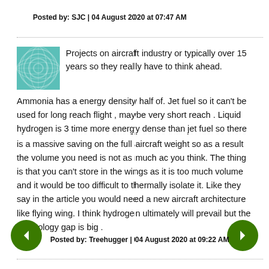Posted by: SJC | 04 August 2020 at 07:47 AM
[Figure (illustration): Teal/green circular pattern avatar image]
Projects on aircraft industry or typically over 15 years so they really have to think ahead. Ammonia has a energy density half of. Jet fuel so it can't be used for long reach flight , maybe very short reach . Liquid hydrogen is 3 time more energy dense than jet fuel so there is a massive saving on the full aircraft weight so as a result the volume you need is not as much ac you think. The thing is that you can't store in the wings as it is too much volume and it would be too difficult to thermally isolate it. Like they say in the article you would need a new aircraft architecture like flying wing. I think hydrogen ultimately will prevail but the technology gap is big .
Posted by: Treehugger | 04 August 2020 at 09:22 AM